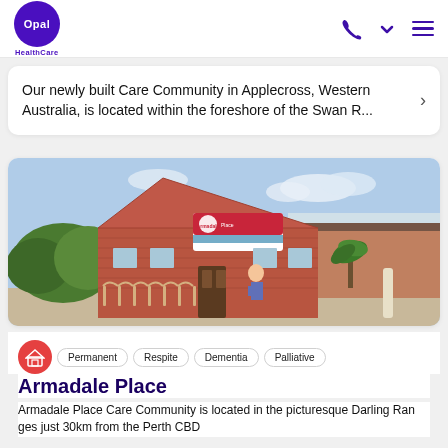Opal HealthCare
Our newly built Care Community in Applecross, Western Australia, is located within the foreshore of the Swan R...
[Figure (photo): Exterior photo of Armadale Place care facility: a brick building with a triangular gabled roofline, a red and white Opal sign, hedges and palm-like plants, a wooden fence, and a person walking near the entrance.]
Permanent
Respite
Dementia
Palliative
Armadale Place
Armadale Place Care Community is located in the picturesque Darling Ranges just 30km from the Perth CBD...